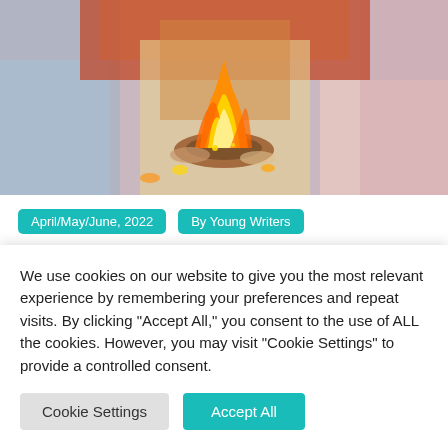[Figure (photo): A Hindu wedding ceremony scene showing a sacred fire (agni), with bride and groom in traditional colorful attire including orange and red garments with elaborate jewelry and decorations.]
April/May/June, 2022
By Young Writers
The Future of Hindu Matchmaking
We use cookies on our website to give you the most relevant experience by remembering your preferences and repeat visits. By clicking "Accept All," you consent to the use of ALL the cookies. However, you may visit "Cookie Settings" to provide a controlled consent.
Cookie Settings
Accept All